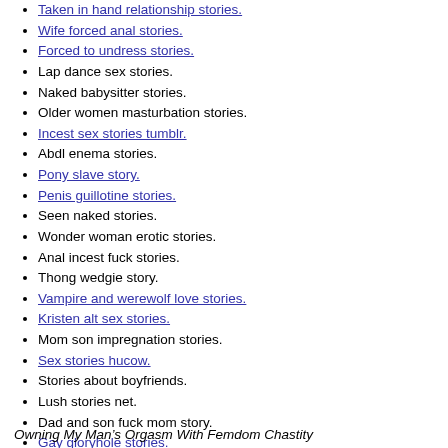Taken in hand relationship stories.
Wife forced anal stories.
Forced to undress stories.
Lap dance sex stories.
Naked babysitter stories.
Older women masturbation stories.
Incest sex stories tumblr.
Abdl enema stories.
Pony slave story.
Penis guillotine stories.
Seen naked stories.
Wonder woman erotic stories.
Anal incest fuck stories.
Thong wedgie story.
Vampire and werewolf love stories.
Kristen alt sex stories.
Mom son impregnation stories.
Sex stories hucow.
Stories about boyfriends.
Lush stories net.
Dad and son fuck mom story.
Gay gloryhole stories.
Owning My Man’s Orgasm With Femdom Chastity